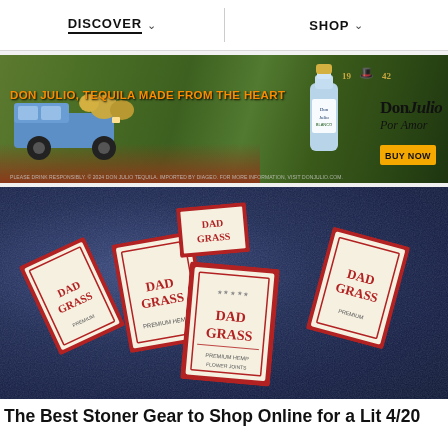DISCOVER   SHOP
[Figure (photo): Don Julio tequila advertisement banner. Shows a vintage blue pickup truck loaded with agave pineapples in an agave field. Orange text reads 'DON JULIO, TEQUILA MADE FROM THE HEART'. Right side shows a Don Julio Blanco bottle with the DonJulio Por Amor logo and a 'BUY NOW' button.]
[Figure (photo): Photo of multiple red and cream colored 'DAD GRASS' branded matchbox-style packages scattered on a dark blue textured surface. The boxes display 'DAD GRASS' in red lettering on a vintage-style label.]
The Best Stoner Gear to Shop Online for a Lit 4/20